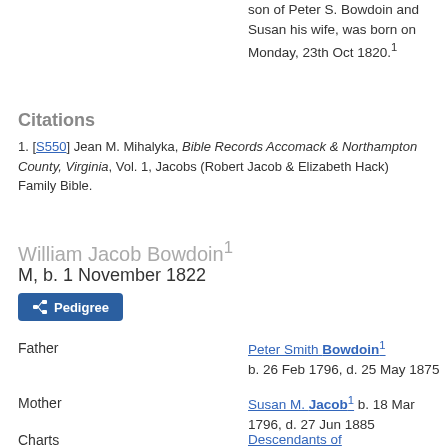son of Peter S. Bowdoin and Susan his wife, was born on Monday, 23th Oct 1820.¹
Citations
[S550] Jean M. Mihalyka, Bible Records Accomack & Northampton County, Virginia, Vol. 1, Jacobs (Robert Jacob & Elizabeth Hack) Family Bible.
William Jacob Bowdoin¹
M, b. 1 November 1822
Father
Peter Smith Bowdoin¹ b. 26 Feb 1796, d. 25 May 1875
Mother
Susan M. Jacob¹ b. 18 Mar 1796, d. 27 Jun 1885
Charts
Descendants of William Andrew (Fir...